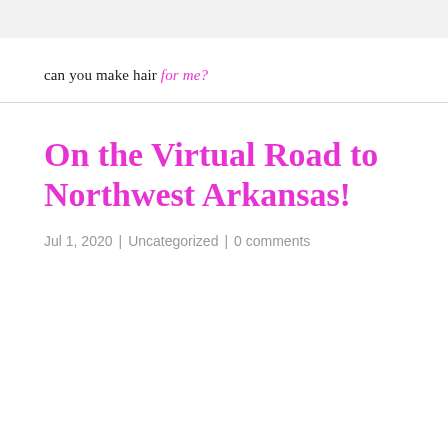can you make hair for me?
On the Virtual Road to Northwest Arkansas!
Jul 1, 2020 | Uncategorized | 0 comments